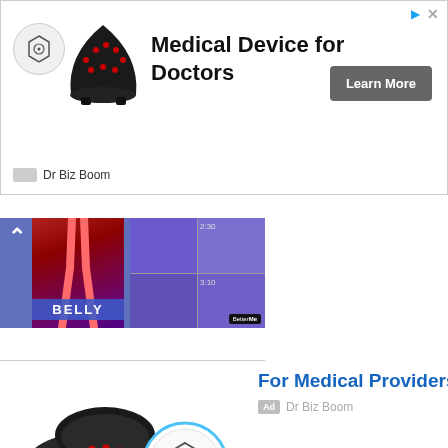[Figure (photo): Top advertisement banner for Bedrock Bioscience Light Pad medical device. Shows circular logo and black helmet-shaped device on left, bold headline 'Medical Device for Doctors', a 'Learn More' button, and 'Dr Biz Boom' source label at bottom left. Play and close icons at top right.]
[Figure (photo): Middle advertisement banner showing yoga/fitness content with 'BELLY' text overlay in blue, person doing yoga poses, and BetterMe logo badge. Upward arrow on left side.]
For Medical Providers
Ad  Dr Biz Boom
[Figure (photo): Bedrock Bioscience Light Pad product photo showing black flexible wrap device with red LED lights and circular branded logo/puck.]